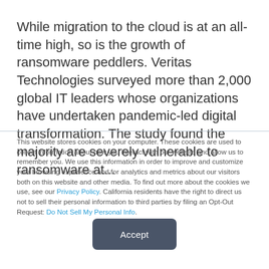While migration to the cloud is at an all-time high, so is the growth of ransomware peddlers. Veritas Technologies surveyed more than 2,000 global IT leaders whose organizations have undertaken pandemic-led digital transformation. The study found the majority are severely vulnerable to ransomware at...
This website stores cookies on your computer. These cookies are used to collect information about how you interact with our website and allow us to remember you. We use this information in order to improve and customize your browsing experience and for analytics and metrics about our visitors both on this website and other media. To find out more about the cookies we use, see our Privacy Policy. California residents have the right to direct us not to sell their personal information to third parties by filing an Opt-Out Request: Do Not Sell My Personal Info.
Accept